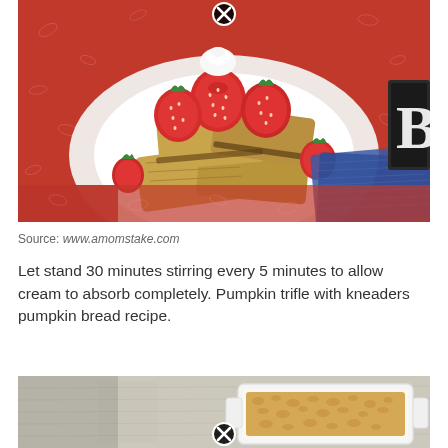[Figure (photo): A plate of French toast topped with fresh strawberries on a red patterned tablecloth, with a blue napkin in background and a dark chalkboard sign partially visible. A close/remove button (circled X) overlays the top-center of the image.]
Source: www.amomstake.com
Let stand 30 minutes stirring every 5 minutes to allow cream to absorb completely. Pumpkin trifle with kneaders pumpkin bread recipe.
[Figure (photo): Partial view of a baking dish with a casserole or trifle dessert on a wooden surface. A close/remove button (circled X) overlays the bottom-center of the image.]